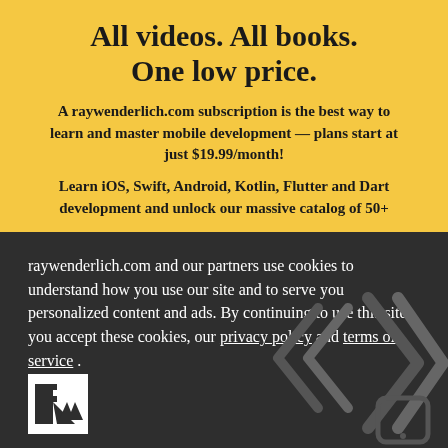All videos. All books. One low price.
A raywenderlich.com subscription is the best way to learn and master mobile development — plans start at just $19.99/month!
Learn iOS, Swift, Android, Kotlin, Flutter and Dart development and unlock our massive catalog of 50+
raywenderlich.com and our partners use cookies to understand how you use our site and to serve you personalized content and ads. By continuing to use this site, you accept these cookies, our privacy policy and terms of service.
[Figure (logo): raywenderlich.com logo — white R and mountain/W shape on white square background]
[Figure (illustration): Decorative dark gray chevron and phone outline shapes in bottom-right corner]